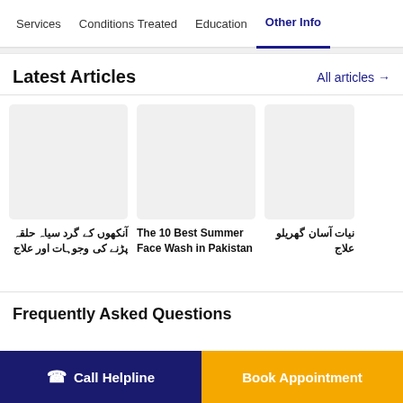Services | Conditions Treated | Education | Other Info
Latest Articles
All articles →
[Figure (photo): Article thumbnail image placeholder (light gray)]
آنکھوں کے گرد سیاہ حلقہ پڑنے کی وجوہات اور علاج
[Figure (photo): Article thumbnail image placeholder (light gray)]
The 10 Best Summer Face Wash in Pakistan
[Figure (photo): Article thumbnail image placeholder (light gray)]
نیات آسان گھریلو علاج
Frequently Asked Questions
Call Helpline
Book Appointment